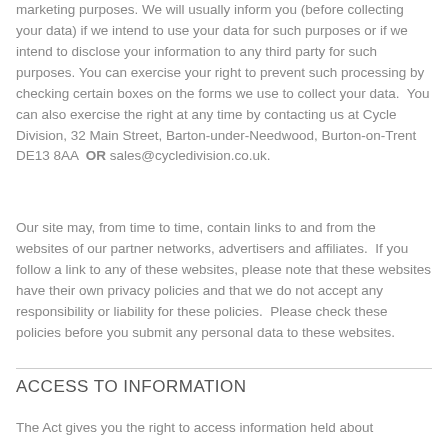marketing purposes. We will usually inform you (before collecting your data) if we intend to use your data for such purposes or if we intend to disclose your information to any third party for such purposes. You can exercise your right to prevent such processing by checking certain boxes on the forms we use to collect your data.  You can also exercise the right at any time by contacting us at Cycle Division, 32 Main Street, Barton-under-Needwood, Burton-on-Trent DE13 8AA  OR sales@cycledivision.co.uk.
Our site may, from time to time, contain links to and from the websites of our partner networks, advertisers and affiliates.  If you follow a link to any of these websites, please note that these websites have their own privacy policies and that we do not accept any responsibility or liability for these policies.  Please check these policies before you submit any personal data to these websites.
ACCESS TO INFORMATION
The Act gives you the right to access information held about